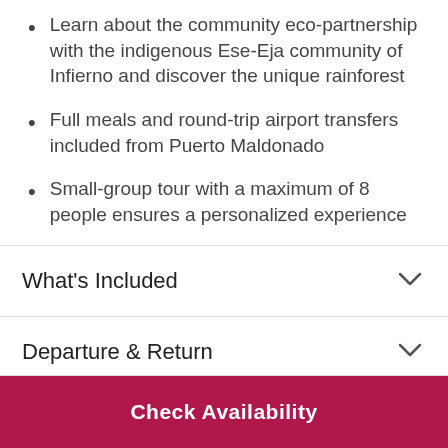Learn about the community eco-partnership with the indigenous Ese-Eja community of Infierno and discover the unique rainforest
Full meals and round-trip airport transfers included from Puerto Maldonado
Small-group tour with a maximum of 8 people ensures a personalized experience
What's Included
Departure & Return
Check Availability